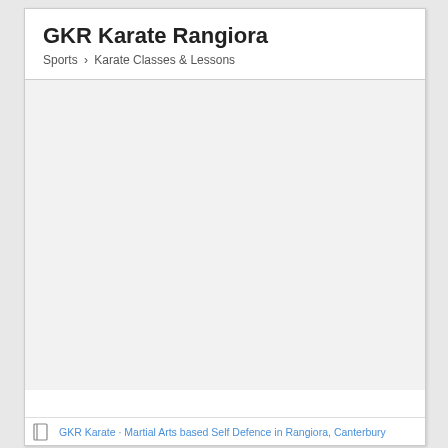GKR Karate Rangiora
Sports > Karate Classes & Lessons
GKR Karate · Martial Arts based Self Defence in Rangiora, Canterbury